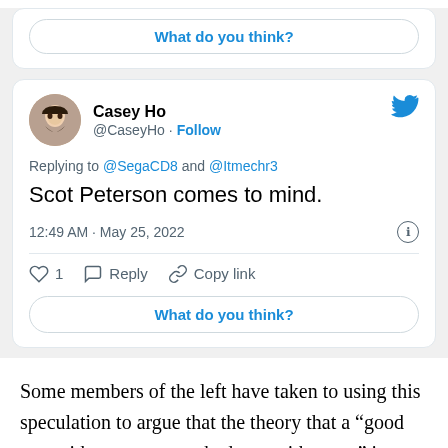[Figure (screenshot): Partial Twitter/X card showing 'What do you think?' button at top]
[Figure (screenshot): Tweet by Casey Ho (@CaseyHo) replying to @SegaCD8 and @Itmechr3, text: 'Scot Peterson comes to mind.', posted 12:49 AM · May 25, 2022, with 1 like, Reply, Copy link actions and 'What do you think?' prompt]
Some members of the left have taken to using this speculation to argue that the theory that a “good guy with a gun stops a bad guy with a gun” is false.